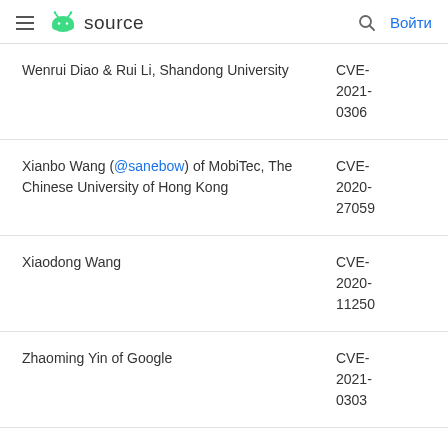≡ 🤖 source  🔍  Войти
| Researcher | CVE |
| --- | --- |
| Wenrui Diao & Rui Li, Shandong University | CVE-2021-0306 |
| Xianbo Wang (@sanebow) of MobiTec, The Chinese University of Hong Kong | CVE-2020-27059 |
| Xiaodong Wang | CVE-2020-11250 |
| Zhaoming Yin of Google | CVE-2021-0303 |